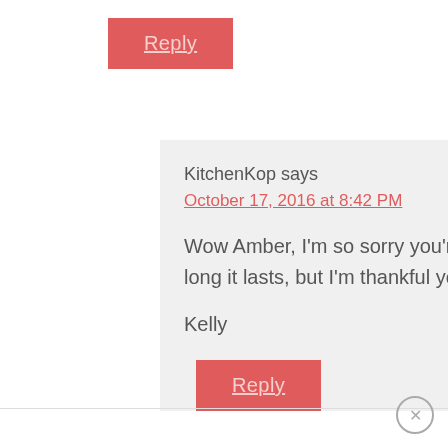Reply
KitchenKop says
October 17, 2016 at 8:42 PM
Wow Amber, I'm so sorry you're going through all of this! I'm not sure how long it lasts, but I'm thankful you're at least on your way, good job!!!
Kelly
Reply